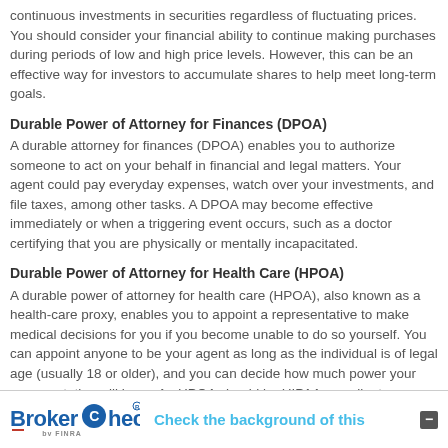continuous investments in securities regardless of fluctuating prices. You should consider your financial ability to continue making purchases during periods of low and high price levels. However, this can be an effective way for investors to accumulate shares to help meet long-term goals.
Durable Power of Attorney for Finances (DPOA)
A durable attorney for finances (DPOA) enables you to authorize someone to act on your behalf in financial and legal matters. Your agent could pay everyday expenses, watch over your investments, and file taxes, among other tasks. A DPOA may become effective immediately or when a triggering event occurs, such as a doctor certifying that you are physically or mentally incapacitated.
Durable Power of Attorney for Health Care (HPOA)
A durable power of attorney for health care (HPOA), also known as a health-care proxy, enables you to appoint a representative to make medical decisions for you if you become unable to do so yourself. You can appoint anyone to be your agent as long as the individual is of legal age (usually 18 or older), and you can decide how much power your representative will have. An HPOA should be HIPAA compliant so your representative can access your private medical information.
BrokerCheck by FINRA — Check the background of this